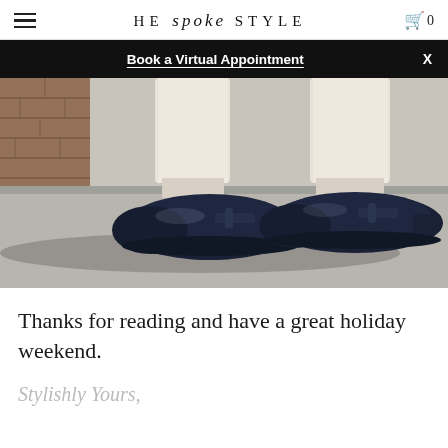HE spoke STYLE  🛒 0
Book a Virtual Appointment   X
[Figure (photo): Close-up photo of a person wearing white/cream trousers and navy blue leather penny loafers/moccasins, standing on a light grey concrete surface. Two shoes visible, one slightly behind the other. Background shows a blurred brick wall.]
Thanks for reading and have a great holiday weekend.
Stylishly Yours,